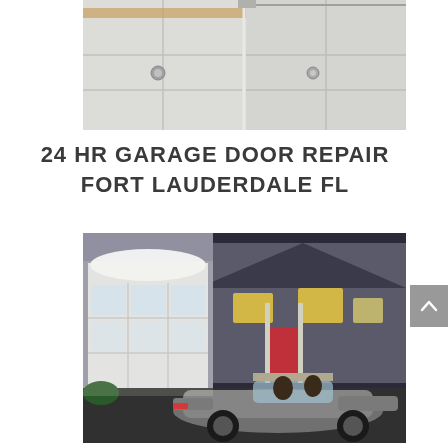[Figure (photo): Close-up photo of white garage door panels with hardware details and a rail mechanism visible at the top]
24 HR GARAGE DOOR REPAIR FORT LAUDERDALE FL
[Figure (photo): Photo of a house with an open garage door showing glass panel sections, a silver convertible sports car in the driveway with two people inside]